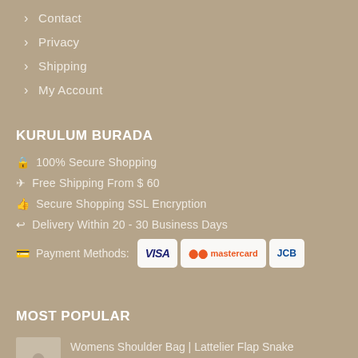Contact
Privacy
Shipping
My Account
KURULUM BURADA
100% Secure Shopping
Free Shipping From $ 60
Secure Shopping SSL Encryption
Delivery Within 20 - 30 Business Days
Payment Methods: VISA MasterCard JCB
MOST POPULAR
Womens Shoulder Bag | Lattelier Flap Snake Effect Messenger Yellow